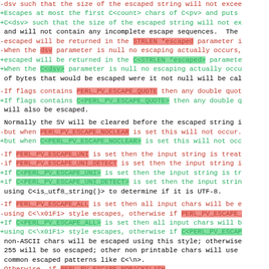Diff view of Perl documentation source code showing changes to escape function documentation. Lines prefixed with - are removed (red), lines prefixed with + are added (green), context lines are black. Highlighted terms include STRLEN *escaped, dsv, C<STRLEN *escaped>, C<dsv>, PERL_PV_ESCAPE_QUOTE, C<PERL_PV_ESCAPE_QUOTE>, PERL_PV_ESCAPE_NOCLEAR, C<PERL_PV_ESCAPE_NOCLEAR>, PERL_PV_ESCAPE_UNI, PERL_PV_ESCAPE_UNI_DETECT, C<PERL_PV_ESCAPE_UNI>, C<PERL_PV_ESCAPE_UNI_DETECT>, PERL_PV_ESCAPE_ALL, C<\x01F1>, PERL_PV_ESCAPE_, C<PERL_PV_ESCAPE_ALL>, C<\x01F1>, C<PERL_PV_ESCAP, PERL_PV_ESCAPE_NOBACKSLASH.